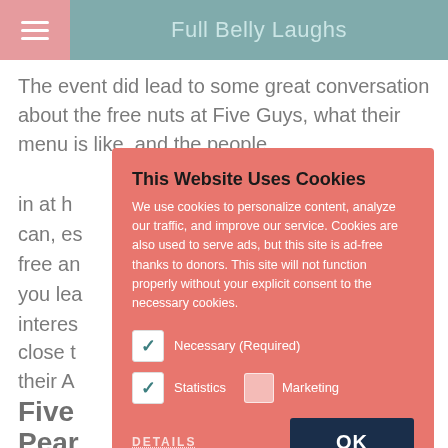Full Belly Laughs
The event did lead to some great conversation about the free nuts at Five Guys, what their menu is like, and the people
in at h
can, es
free an
you lea
interes
close t
their A
Five
Pear
Seriou
for water and you're good to go. If you are on bad times
[Figure (screenshot): Cookie consent dialog overlay on a website. Title: 'This Website Uses Cookies'. Body text: 'We use cookies to personalize content, analyze our traffic, and improve our service. Cookies are also used to serve ads, but this site is ad-free thanks to donors. This site will not function properly without your explicit consent to the necessary cookies.' Three checkboxes: Necessary (Required) - checked, Statistics - checked, Marketing - unchecked. Buttons: DETAILS (dotted underline) and OK (dark navy button).]